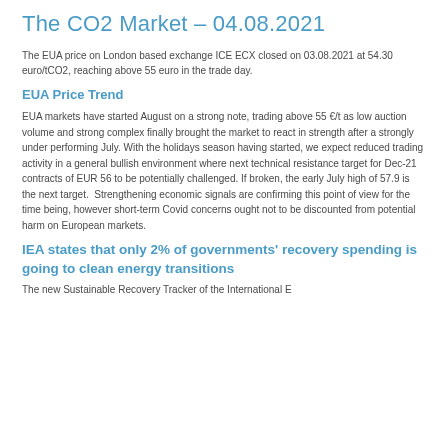The CO2 Market – 04.08.2021
The EUA price on London based exchange ICE ECX closed on 03.08.2021 at 54.30 euro/tCO2, reaching above 55 euro in the trade day.
EUA Price Trend
EUA markets have started August on a strong note, trading above 55 €/t as low auction volume and strong complex finally brought the market to react in strength after a strongly under performing July. With the holidays season having started, we expect reduced trading activity in a general bullish environment where next technical resistance target for Dec-21 contracts of EUR 56 to be potentially challenged. If broken, the early July high of 57.9 is the next target. Strengthening economic signals are confirming this point of view for the time being, however short-term Covid concerns ought not to be discounted from potential harm on European markets.
IEA states that only 2% of governments' recovery spending is going to clean energy transitions
The new Sustainable Recovery Tracker of the International E...